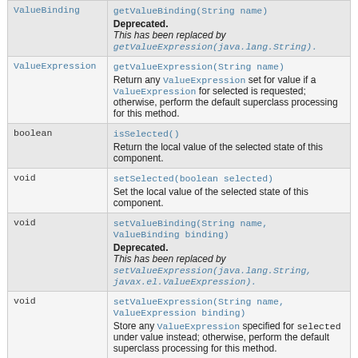| Type | Method and Description |
| --- | --- |
| ValueBinding | getValueBinding(String name)
Deprecated.
This has been replaced by getValueExpression(java.lang.String). |
| ValueExpression | getValueExpression(String name)
Return any ValueExpression set for value if a ValueExpression for selected is requested; otherwise, perform the default superclass processing for this method. |
| boolean | isSelected()
Return the local value of the selected state of this component. |
| void | setSelected(boolean selected)
Set the local value of the selected state of this component. |
| void | setValueBinding(String name, ValueBinding binding)
Deprecated.
This has been replaced by setValueExpression(java.lang.String, javax.el.ValueExpression). |
| void | setValueExpression(String name, ValueExpression binding)
Store any ValueExpression specified for selected under value instead; otherwise, perform the default superclass processing for this method. |